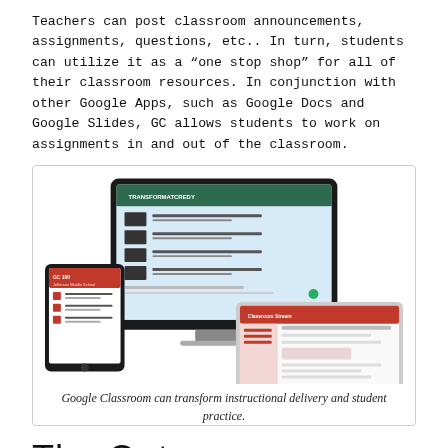Teachers can post classroom announcements, assignments, questions, etc.. In turn, students can utilize it as a “one stop shop” for all of their classroom resources. In conjunction with other Google Apps, such as Google Docs and Google Slides, GC allows students to work on assignments in and out of the classroom.
[Figure (screenshot): Screenshot showing Google Classroom displayed on a desktop monitor, tablet, and laptop. The monitor shows a Google Classroom page with video assignments listed. The tablet shows a mobile view. The laptop shows a Google Classroom assignment or comment interface.]
Google Classroom can transform instructional delivery and student practice.
The Outcome